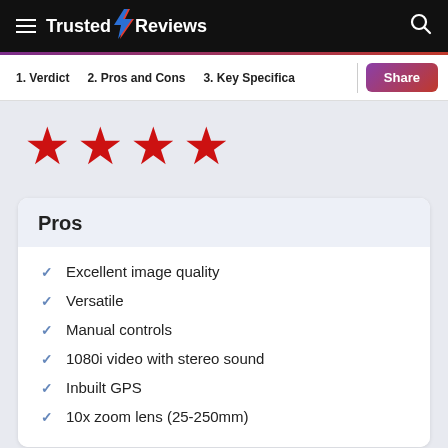Trusted Reviews
1. Verdict  2. Pros and Cons  3. Key Specifica
[Figure (other): 4 red star rating]
Pros
Excellent image quality
Versatile
Manual controls
1080i video with stereo sound
Inbuilt GPS
10x zoom lens (25-250mm)